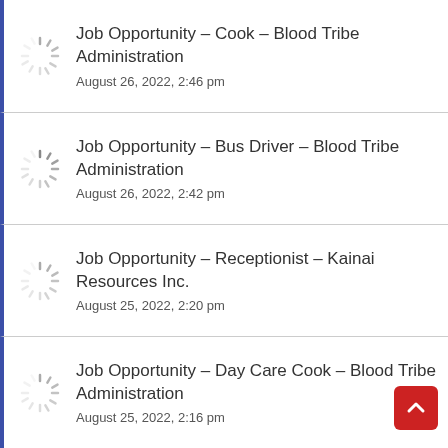Job Opportunity – Cook – Blood Tribe Administration
August 26, 2022, 2:46 pm
Job Opportunity – Bus Driver – Blood Tribe Administration
August 26, 2022, 2:42 pm
Job Opportunity – Receptionist – Kainai Resources Inc.
August 25, 2022, 2:20 pm
Job Opportunity – Day Care Cook – Blood Tribe Administration
August 25, 2022, 2:16 pm